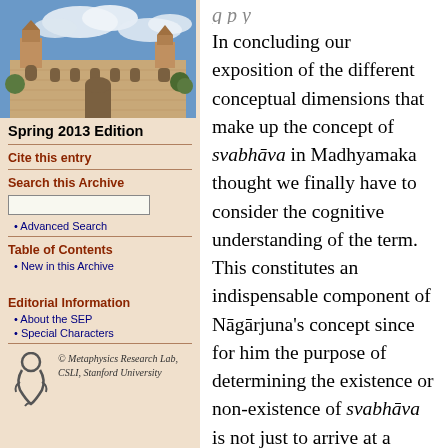[Figure (photo): Photograph of a university campus building (sandstone architecture) with blue sky and clouds]
Spring 2013 Edition
Cite this entry
Search this Archive
Advanced Search
Table of Contents
New in this Archive
Editorial Information
About the SEP
Special Characters
[Figure (logo): Metaphysics Research Lab, CSLI, Stanford University logo with stylized figure]
© Metaphysics Research Lab, CSLI, Stanford University
In concluding our exposition of the different conceptual dimensions that make up the concept of svabhāva in Madhyamaka thought we finally have to consider the cognitive understanding of the term. This constitutes an indispensable component of Nāgārjuna's concept since for him the purpose of determining the existence or non-existence of svabhāva is not just to arrive at a theoretically satisfactory understanding of reality but is taken to have far more comprehensive implications for how we interact with the world. Realization of the non-existence